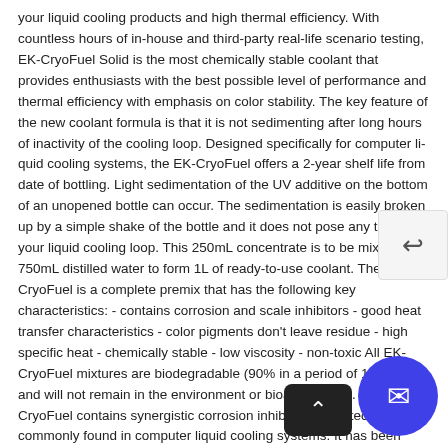your liquid cooling products and high thermal efficiency. With countless hours of in-house and third-party real-life scenario testing, EK-CryoFuel Solid is the most chemically stable coolant that provides enthusiasts with the best possible level of performance and thermal efficiency with emphasis on color stability. The key feature of the new coolant formula is that it is not sedimenting after long hours of inactivity of the cooling loop. Designed specifically for computer liquid cooling systems, the EK-CryoFuel offers a 2-year shelf life from date of bottling. Light sedimentation of the UV additive on the bottom of an unopened bottle can occur. The sedimentation is easily broken up by a simple shake of the bottle and it does not pose any threat to your liquid cooling loop. This 250mL concentrate is to be mixed in 750mL distilled water to form 1L of ready-to-use coolant. The EK-CryoFuel is a complete premix that has the following key characteristics: - contains corrosion and scale inhibitors - good heat transfer characteristics - color pigments don't leave residue - high specific heat - chemically stable - low viscosity - non-toxic All EK-CryoFuel mixtures are biodegradable (90% in a period of 10 days) and will not remain in the environment or bioaccumulate. EK-CryoFuel contains synergistic corrosion inhibitors to protect metals commonly found in computer liquid cooling systems. It has been tested in accordance with BS5117 (ASTM D1384) and found to meet corrosion standards for copper, brass, and stainless steel.